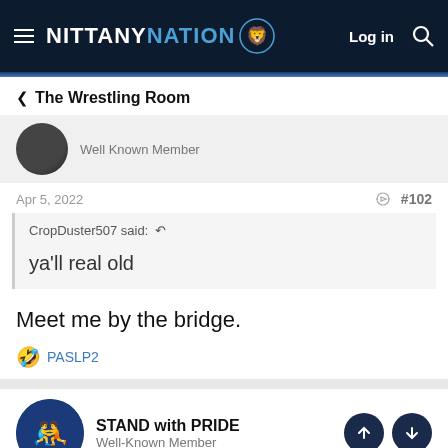NITTANY NATION — Log in
< The Wrestling Room
Well Known Member
Apr 5, 2022  #102
CropDuster507 said: ↺

ya'll real old
Meet me by the bridge.
😂 PASLP2
STAND with PRIDE
Well-Known Member